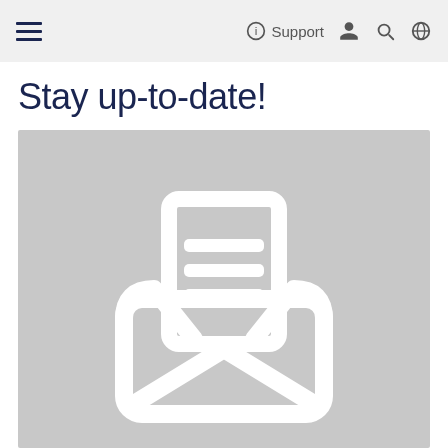≡  Support
Stay up-to-date!
[Figure (illustration): Gray placeholder image with a white open envelope icon containing a document with three text lines]